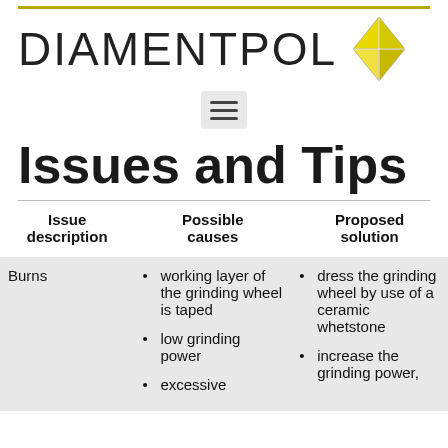[Figure (logo): Diamentpol logo with text DIAMENTPOL and a yellow diamond shape icon]
Issues and Tips
| Issue description | Possible causes | Proposed solution |
| --- | --- | --- |
| Burns | • working layer of the grinding wheel is taped
• low grinding power
• excessive | • dress the grinding wheel by use of a ceramic whetstone
• increase the grinding power, |